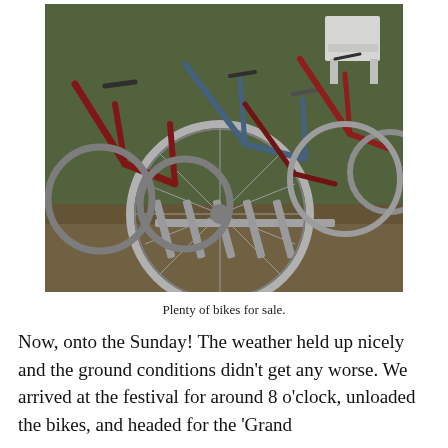[Figure (photo): A collection of bicycles grouped together on grass, many with red frames and silver wheels, with a white plastic chair visible in the background. Several bikes are leaning against each other, and a bike rack is visible in the foreground.]
Plenty of bikes for sale.
Now, onto the Sunday! The weather held up nicely and the ground conditions didn't get any worse. We arrived at the festival for around 8 o'clock, unloaded the bikes, and headed for the 'Grand